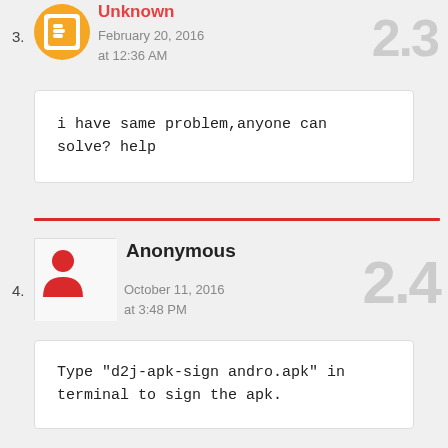3.
[Figure (illustration): Blogger avatar icon - orange circle with white person silhouette]
Unknown
February 20, 2016 at 12:36 AM
2.3
i have same problem,anyone can solve? help
4.
[Figure (illustration): Anonymous user avatar - blank square with red person icon overlay]
Anonymous
October 11, 2016 at 3:48 PM
2.4
Type "d2j-apk-sign andro.apk" in terminal to sign the apk.